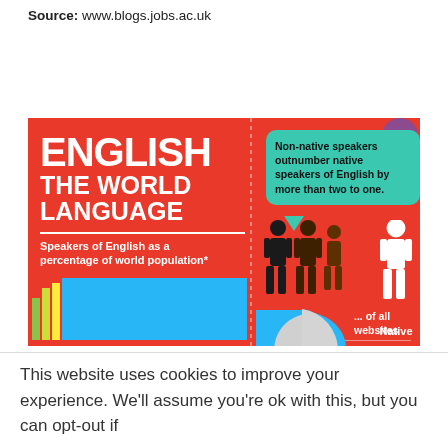Source: www.blogs.jobs.ac.uk
[Figure (infographic): Infographic titled 'ENGLISH THE WORLD LANGUAGE' on a red background. Shows a speech bubble stating 'Non-native speakers outnumber native speakers of English by more than two to one.' Pictograms showing three dark non-native figures vs one white native figure. Bar chart showing speakers of English as percentage of world population with colored bars. Pie chart showing 55% and 45% of all websites. Subtitle: Speakers of English as a percentage of world population*]
This website uses cookies to improve your experience. We'll assume you're ok with this, but you can opt-out if